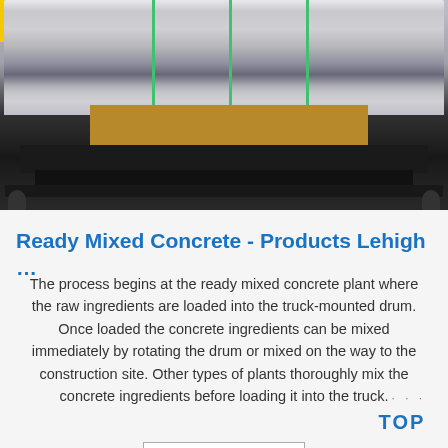[Figure (photo): Industrial floor scale with a large metal roll/cylinder sitting on a wooden pallet on top of the scale platform, in a warehouse/factory setting. A yellow logo is visible in the top-left corner.]
Ready Mixed Concrete - Products Lehigh …
The process begins at the ready mixed concrete plant where the raw ingredients are loaded into the truck-mounted drum. Once loaded the concrete ingredients can be mixed immediately by rotating the drum or mixed on the way to the construction site. Other types of plants thoroughly mix the concrete ingredients before loading it into the truck.
Get Price